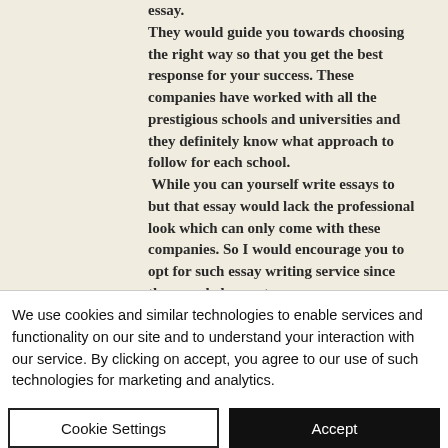essay. They would guide you towards choosing the right way so that you get the best response for your success. These companies have worked with all the prestigious schools and universities and they definitely know what approach to follow for each school. While you can yourself write essays to but that essay would lack the professional look which can only come with these companies. So I would encourage you to opt for such essay writing service since they can help you to
We use cookies and similar technologies to enable services and functionality on our site and to understand your interaction with our service. By clicking on accept, you agree to our use of such technologies for marketing and analytics.
Cookie Settings
Accept